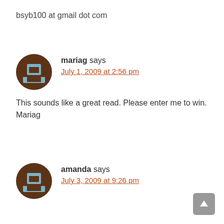bsyb100 at gmail dot com
mariag says
July 1, 2009 at 2:56 pm
This sounds like a great read. Please enter me to win.
Mariag
amanda says
July 3, 2009 at 9:26 pm